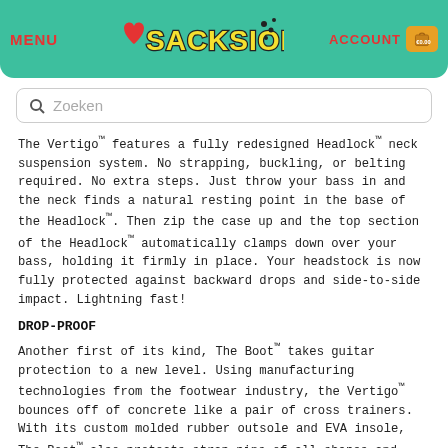MENU | SACKSIONI | ACCOUNT | €0.00
Zoeken
The Vertigo™ features a fully redesigned Headlock™ neck suspension system. No strapping, buckling, or belting required. No extra steps. Just throw your bass in and the neck finds a natural resting point in the base of the Headlock™. Then zip the case up and the top section of the Headlock™ automatically clamps down over your bass, holding it firmly in place. Your headstock is now fully protected against backward drops and side-to-side impact. Lightning fast!
DROP-PROOF
Another first of its kind, The Boot™ takes guitar protection to a new level. Using manufacturing technologies from the footwear industry, the Vertigo™ bounces off of concrete like a pair of cross trainers. With its custom molded rubber outsole and EVA insole, The Boot™ also protects strap pins of all shapes and sizes from those nasty vertical drops. Travel in